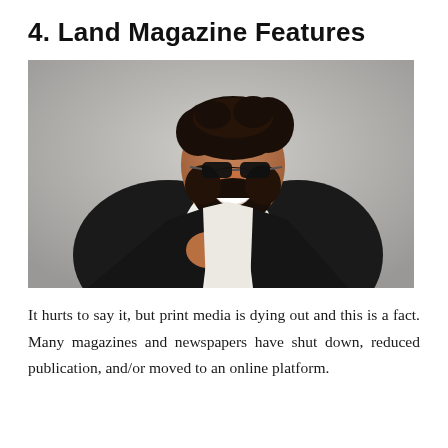4. Land Magazine Features
[Figure (photo): A stylish young man with curly dark hair, beard, and sunglasses, wearing a white shirt open at the chest under a black leather jacket which he is pulling open, posing against a light grey background, smiling broadly.]
It hurts to say it, but print media is dying out and this is a fact. Many magazines and newspapers have shut down, reduced publication, and/or moved to an online platform.